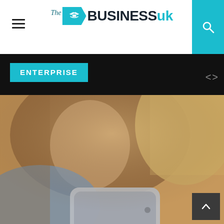The Business UK - navigation header with hamburger menu, logo, and search icon
ENTERPRISE
[Figure (photo): Blurred photo of a woman with brown hair holding a smartphone (iPhone), wearing a blue denim shirt. The image shows the back of the phone in focus with the person blurred in the background.]